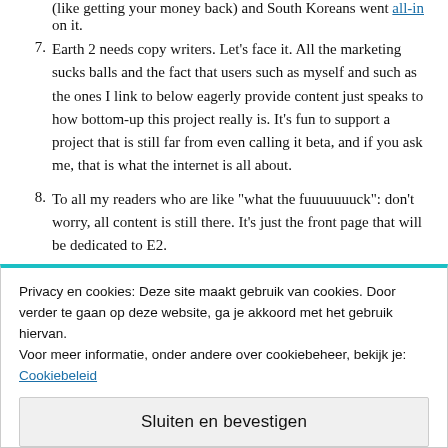(like getting your money back) and South Koreans went all-in on it.
7. Earth 2 needs copy writers. Let's face it. All the marketing sucks balls and the fact that users such as myself and such as the ones I link to below eagerly provide content just speaks to how bottom-up this project really is. It's fun to support a project that is still far from even calling it beta, and if you ask me, that is what the internet is all about.
8. To all my readers who are like "what the fuuuuuuuck": don't worry, all content is still there. It's just the front page that will be dedicated to E2.
9. If you would be so kind as of to be willing to kindly use the promo code "erwtdotorg" when you purchase your next tile, I would be very grateful. Also, you get a 7.5% discount.
Privacy en cookies: Deze site maakt gebruik van cookies. Door verder te gaan op deze website, ga je akkoord met het gebruik hiervan. Voor meer informatie, onder andere over cookiebeheer, bekijk je: Cookiebeleid
Sluiten en bevestigen